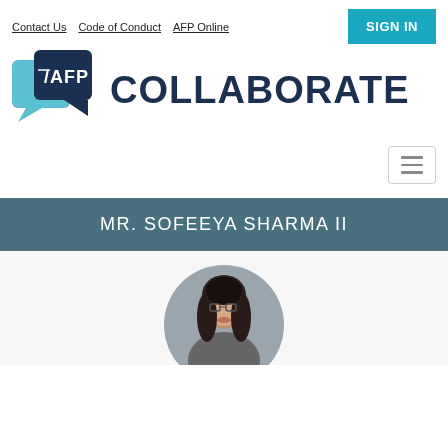Contact Us  Code of Conduct  AFP Online
[Figure (logo): AFP Collaborate logo — two overlapping chat bubble shapes in teal and dark navy, with 'AFP' text in white inside the navy bubble, followed by 'COLLABORATE' in large dark navy bold text.]
[Figure (other): Hamburger/menu button icon — three horizontal lines inside a rounded rectangle border.]
MR. SOFEEYA SHARMA II
[Figure (photo): Circular cropped profile photo of a woman with long dark hair and glasses, partially visible at the bottom of the page.]